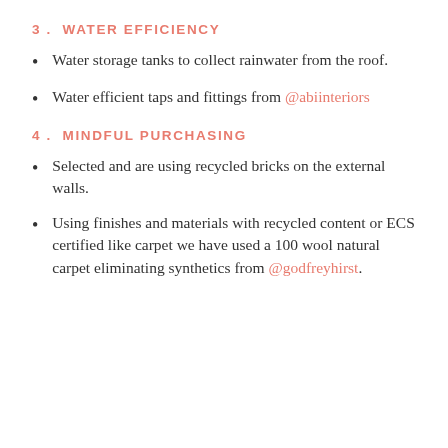3.  WATER EFFICIENCY
Water storage tanks to collect rainwater from the roof.
Water efficient taps and fittings from @abiinteriors
4.  MINDFUL PURCHASING
Selected and are using recycled bricks on the external walls.
Using finishes and materials with recycled content or ECS certified like carpet we have used a 100 wool natural carpet eliminating synthetics from @godfreyhirst.